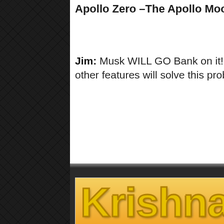Apollo Zero –The Apollo Moon Landings are Science Fiction (24)
Jim: Musk WILL GO Bank on it! The stainless steel hul of his ship along with other features will solve this problem....
[Figure (logo): Krishna.org Community — For Real Knowledge banner logo with yellow/orange gradient background]
CHANT: Hare Krishna, Hare Krishna, Krishna, Krishna Hare Hare / Hare Rama, Hare Rama, Rama Rama Hare Hare and be happy!
acarya BBT Bhagavad Gita Bhaktivedanta Swami Book Changes Book Distribution GBC God Hare Krishna Hare Krishna mantra India IRM ISKCON karma Krishna life after death meditation Prabhupada reincarnation ritual spiritual master